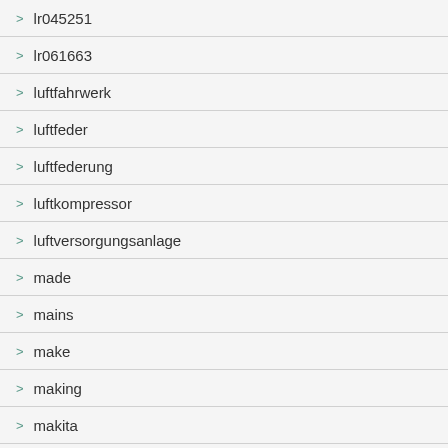> lr045251
> lr061663
> luftfahrwerk
> luftfeder
> luftfederung
> luftkompressor
> luftversorgungsanlage
> made
> mains
> make
> making
> makita
> manfiter